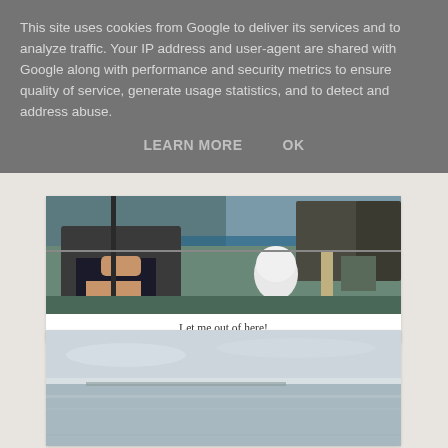This site uses cookies from Google to deliver its services and to analyze traffic. Your IP address and user-agent are shared with Google along with performance and security metrics to ensure quality of service, generate usage statistics, and to detect and address abuse.
LEARN MORE   OK
[Figure (photo): Photo of people on a boat cockpit, with the ocean visible in the background. Person in dark shorts seated, nautical equipment visible including a white dome instrument.]
Let me out of here!
[Figure (photo): Photo showing a flat, hazy seascape or coastal scene with water and a distant shoreline under an overcast sky.]